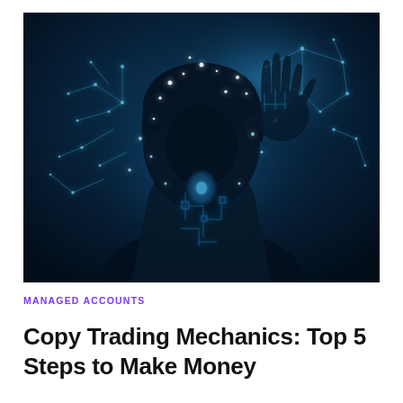[Figure (photo): A dark, dramatic photo of a hooded silhouette figure with glowing blue digital circuit patterns and light particles dispersing from and around the body and an outstretched hand reaching upward, suggesting artificial intelligence or digital transformation, on a deep blue background.]
MANAGED ACCOUNTS
Copy Trading Mechanics: Top 5 Steps to Make Money